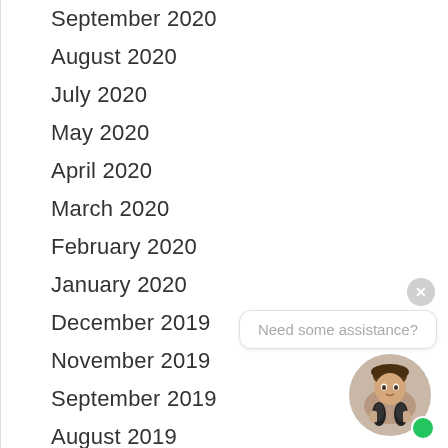September 2020
August 2020
July 2020
May 2020
April 2020
March 2020
February 2020
January 2020
December 2019
November 2019
September 2019
August 2019
June 2019
April 2019
October 2018
Need some assistance?